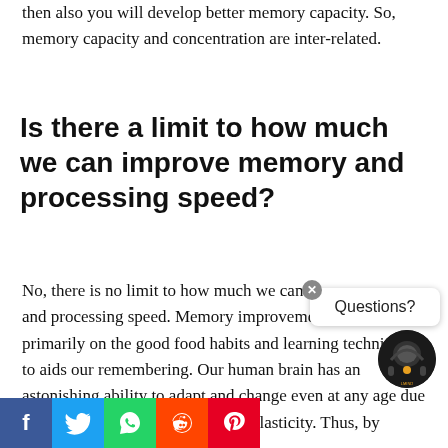then also you will develop better memory capacity. So, memory capacity and concentration are inter-related.
Is there a limit to how much we can improve memory and processing speed?
No, there is no limit to how much we can improve memory and processing speed. Memory improvement depends primarily on the good food habits and learning techniques to aids our remembering. Our human brain has an astonishing ability to adapt and change even at any age due to its inherent ability called neuroplasticity. Thus, by proper stimuli our brain